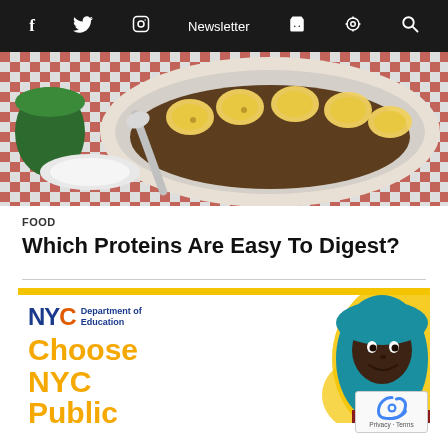f  Twitter  Instagram  Newsletter  Cart  Podcast  Search
[Figure (photo): A bowl of granola/muesli topped with banana slices on a red-and-white checkered tablecloth with a spoon visible]
FOOD
Which Proteins Are Easy To Digest?
[Figure (infographic): NYC Department of Education advertisement showing 'Choose NYC Public' text and a smiling girl wearing a teal hijab, with yellow accent bar and blob shape]